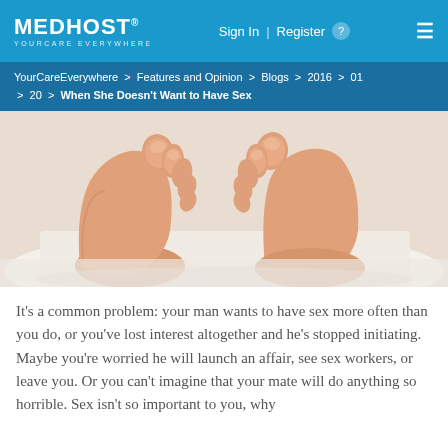MEDHOST YOURCARE EVERYWHERE | Sign In | Register
YourCareEverywhere > Features and Opinion > Blogs > 2016 > 01 > 20 > When She Doesn't Want to Have Sex
[Figure (photo): Close-up photo of two pairs of feet (soles facing up) on a white sheet, suggesting intimacy.]
It’s a common problem: your man wants to have sex more often than you do, or you’ve lost interest altogether and he’s stopped initiating. Maybe you’re worried he will launch an affair, see sex workers, or leave you. Or you can’t imagine that your mate will do anything so horrible. Sex isn’t so important to you, why